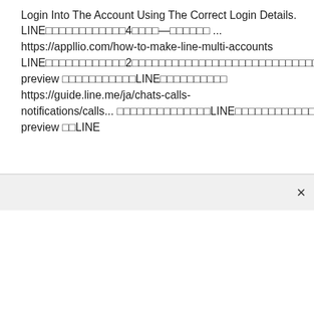Login Into The Account Using The Correct Login Details. LINE□□□□□□□□□□□□4□□□□—□□□□□□ ... https://appllio.com/how-to-make-line-multi-accounts LINE□□□□□□□□□□□□2□□□□□□□□□□□□□□□□□□□□□□□□□□□□□□□□□□□□□□□□□□□□□□□LINE□□□□□□□□□□□□□□□□□□□□□□□□□□□□□□□□□4□□□□□□□  preview □□□□□□□□□□□LINE□□□□□□□□□□https://guide.line.me/ja/chats-calls-notifications/calls... □□□□□□□□□□□□□□LINE□□□□□□□□□□□□□□□□□ LINE□□□□□□□□□□□□□□□□□□500□□□□□□□□□□□□□□□□□□□□□□□□□□□□□□□□□□□□□□□□□□□□□□□□□□□□□□  preview □□LINE